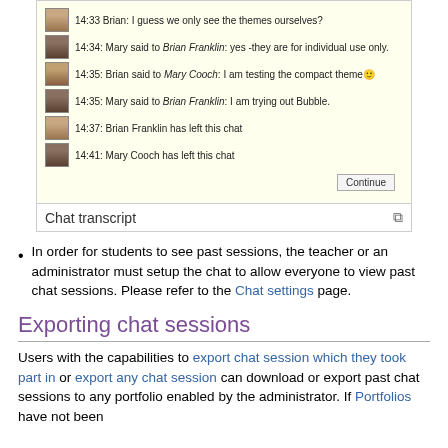[Figure (screenshot): A chat transcript screenshot showing a conversation between Brian and Mary with timestamps, avatars, and a Continue button. Caption reads 'Chat transcript'.]
In order for students to see past sessions, the teacher or an administrator must setup the chat to allow everyone to view past chat sessions. Please refer to the Chat settings page.
Exporting chat sessions
Users with the capabilities to export chat session which they took part in or export any chat session can download or export past chat sessions to any portfolio enabled by the administrator. If Portfolios have not been